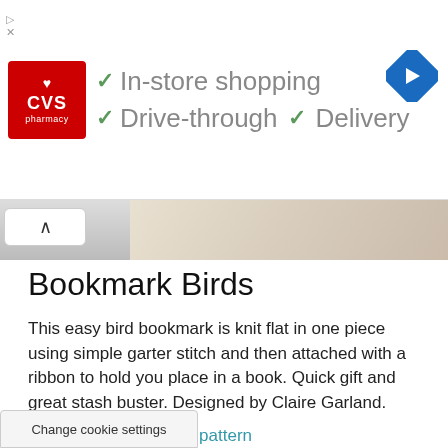[Figure (screenshot): CVS Pharmacy advertisement banner with checkmarks for In-store shopping, Drive-through, and Delivery, with a navigation arrow icon on the right]
[Figure (photo): Partial cropped image of a bird bookmark knitting project showing knitted fabric and hands]
Bookmark Birds
This easy bird bookmark is knit flat in one piece using simple garter stitch and then attached with a ribbon to hold you place in a book. Quick gift and great stash buster. Designed by Claire Garland.
Get the free knitting pattern
See more patterns by Claire Garland
See more Bird Knitting Patterns
Change cookie settings